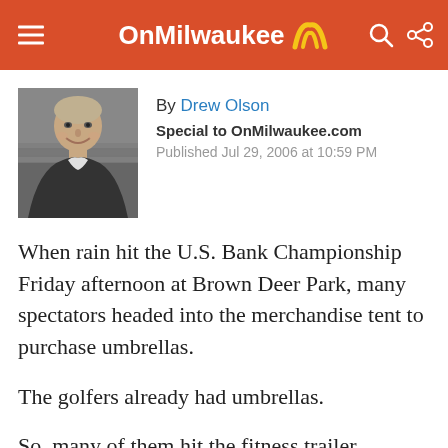OnMilwaukee
[Figure (photo): Black and white headshot photo of Drew Olson, a smiling middle-aged man in a blazer, with a stadium in the background]
By Drew Olson
Special to OnMilwaukee.com
Published Jul 29, 2006 at 10:59 PM
When rain hit the U.S. Bank Championship Friday afternoon at Brown Deer Park, many spectators headed into the merchandise tent to purchase umbrellas.
The golfers already had umbrellas.
So, many of them hit the fitness trailer.